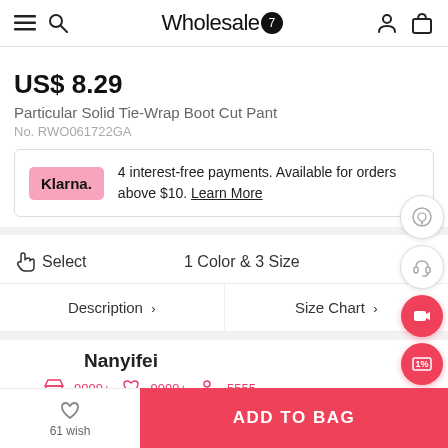Wholesale7
US$ 8.29
Particular Solid Tie-Wrap Boot Cut Pant
No. RWO061722GA
4 interest-free payments. Available for orders above $10. Learn More
Select  1 Color & 3 Size
Description >    Size Chart >
Nanyifei
9999+  9999+  5555
61 wish   ADD TO BAG